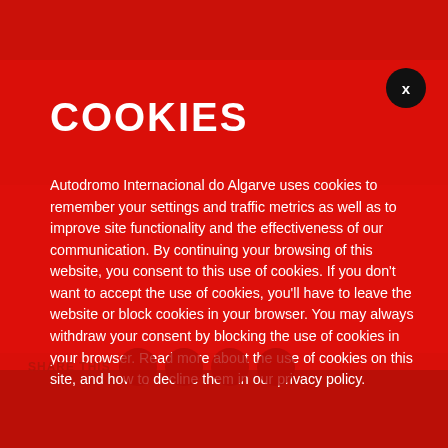COOKIES
Autodromo Internacional do Algarve uses cookies to remember your settings and traffic metrics as well as to improve site functionality and the effectiveness of our communication. By continuing your browsing of this website, you consent to this use of cookies. If you don't want to accept the use of cookies, you'll have to leave the website or block cookies in your browser. You may always withdraw your consent by blocking the use of cookies in your browser. Read more about the use of cookies on this site, and how to decline them in our privacy policy.